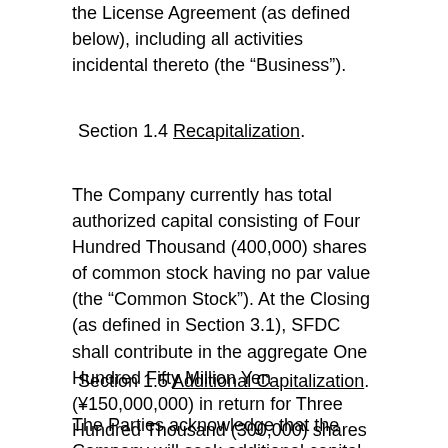the License Agreement (as defined below), including all activities incidental thereto (the “Business”).
Section 1.4 Recapitalization.
The Company currently has total authorized capital consisting of Four Hundred Thousand (400,000) shares of common stock having no par value (the “Common Stock”). At the Closing (as defined in Section 3.1), SFDC shall contribute in the aggregate One Hundred Fifty Million Yen (¥150,000,000) in return for Three Hundred Thousand (300,000) shares of the Company’s Common Stock at a price of 500 yen per share. The company’s authorized shares will then be increased to 1,600,000 shares.
Section 1.5 Additional Capitalization.
The Parties acknowledge that the Company will seek additional capital through a round of financing with one or